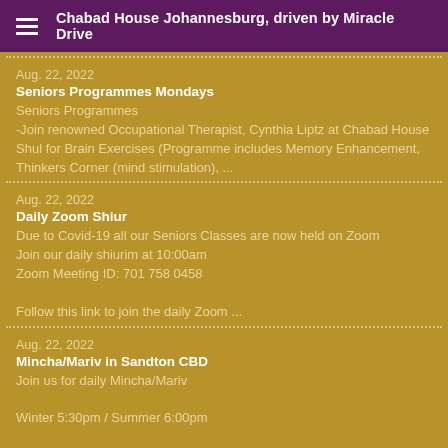Chabad House Johannesburg, driven by Miracle Drive
Aug. 22, 2022
Seniors Programmes Mondays
Seniors Programmes
-Join renowned Occupational Therapist, Cynthia Liptz at Chabad House Shul for Brain Exercises (Programme includes Memory Enhancement, Thinkers Corner (mind stimulation), ...
Aug. 22, 2022
Daily Zoom Shiur
Due to Covid-19 all our Seniors Classes are now held on Zoom
Join our daily shiurim at 10:00am
Zoom Meeting ID: 701 758 0458

Follow this link to join the daily Zoom ...
Aug. 22, 2022
Mincha/Mariv in Sandton CBD
Join us for daily Mincha/Mariv

Winter 5:30pm / Summer 6:00pm

*Quick Service
*Short Vort
*Refreshments always served
*Optional study before or after (Shul open ...